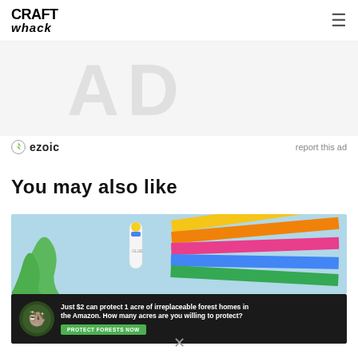CRAFT whack (logo) — hamburger menu
[Figure (illustration): Ad banner placeholder with large light gray letters 'AD' text area]
ezoic   report this ad
You may also like
[Figure (photo): Colorful craft supplies: stacked colored paper sheets (pink, blue, green, orange, yellow) with a glue stick on a light blue background]
[Figure (illustration): Dark forest conservation ad: Just $2 can protect 1 acre of irreplaceable forest homes in the Amazon. How many acres are you willing to protect? PROTECT FORESTS NOW]